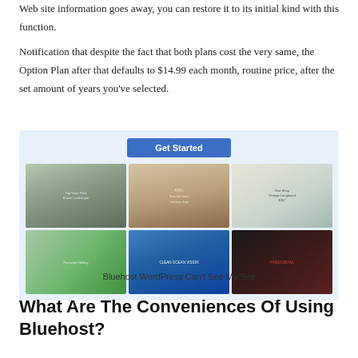Web site information goes away, you can restore it to its initial kind with this function.
Notification that despite the fact that both plans cost the very same, the Option Plan after that defaults to $14.99 each month, routine price, after the set amount of years you've selected.
[Figure (screenshot): A Bluehost WordPress website builder interface showing a 'Get Started' blue button at the top and a 3x2 grid of website template thumbnails including architectural, fashion/hats, surfboard, forest, ocean wave, and food/ramen bowl designs.]
Bluehost WordPress Can't See My Site
What Are The Conveniences Of Using Bluehost?